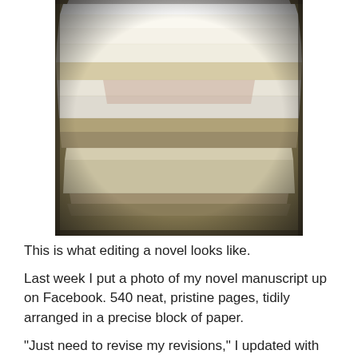[Figure (photo): A stack of manuscript pages fanned out, showing layers of paper with varying shades of white, cream, and beige, photographed from above at a slight angle with a vintage/Instagram-style filter effect.]
This is what editing a novel looks like. Last week I put a photo of my novel manuscript up on Facebook. 540 neat, pristine pages, tidily arranged in a precise block of paper.

"Just need to revise my revisions," I updated with